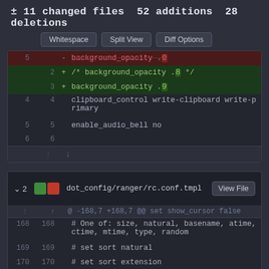± 11 changed files  52 additions  28 deletions
[Figure (screenshot): GitHub diff view showing two file diffs. Buttons: Whitespace, Split View, Diff Options. First diff shows background_opacity lines with deletions and additions. Second diff header shows dot_config/ranger/rc.conf.tmpl with View File button, hunk header @@ -168,7 +168,7 @@ set show_cursor false, and lines 168-171 showing sort configuration changes.]